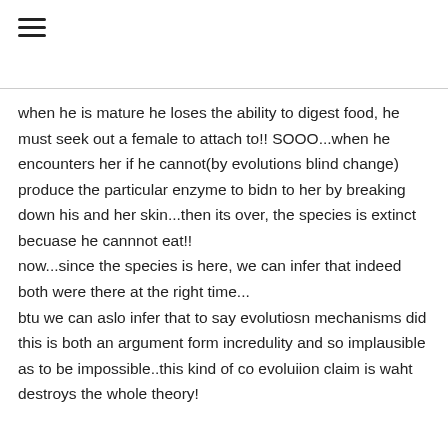when he is mature he loses the ability to digest food, he must seek out a female to attach to!! SOOO...when he encounters her if he cannot(by evolutions blind change) produce the particular enzyme to bidn to her by breaking down his and her skin...then its over, the species is extinct becuase he cannnot eat!! now...since the species is here, we can infer that indeed both were there at the right time... btu we can aslo infer that to say evolutiosn mechanisms did this is both an argument form incredulity and so implausible as to be impossible..this kind of co evoluiion claim is waht destroys the whole theory!